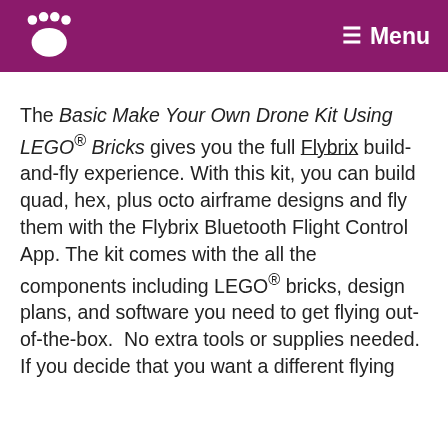Menu
The Basic Make Your Own Drone Kit Using LEGO® Bricks gives you the full Flybrix build-and-fly experience. With this kit, you can build quad, hex, plus octo airframe designs and fly them with the Flybrix Bluetooth Flight Control App. The kit comes with the all the components including LEGO® bricks, design plans, and software you need to get flying out-of-the-box.  No extra tools or supplies needed.  If you decide that you want a different flying